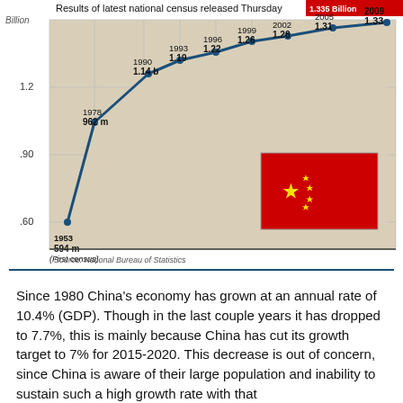[Figure (line-chart): Results of latest national census released Thursday]
Since 1980 China's economy has grown at an annual rate of 10.4% (GDP). Though in the last couple years it has dropped to 7.7%, this is mainly because China has cut its growth target to 7% for 2015-2020. This decrease is out of concern, since China is aware of their large population and inability to sustain such a high growth rate with that